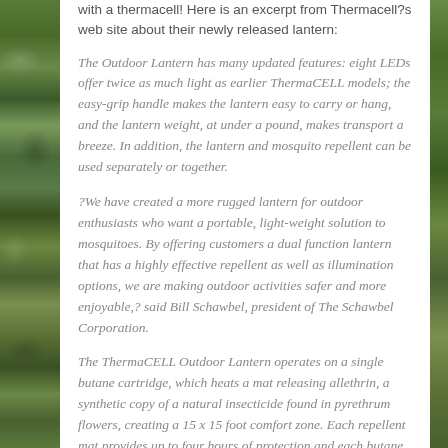with a thermacell! Here is an excerpt from Thermacell?s web site about their newly released lantern:
The Outdoor Lantern has many updated features: eight LEDs offer twice as much light as earlier ThermaCELL models; the easy-grip handle makes the lantern easy to carry or hang, and the lantern weight, at under a pound, makes transport a breeze. In addition, the lantern and mosquito repellent can be used separately or together.
?We have created a more rugged lantern for outdoor enthusiasts who want a portable, light-weight solution to mosquitoes. By offering customers a dual function lantern that has a highly effective repellent as well as illumination options, we are making outdoor activities safer and more enjoyable,? said Bill Schawbel, president of The Schawbel Corporation.
The ThermaCELL Outdoor Lantern operates on a single butane cartridge, which heats a mat releasing allethrin, a synthetic copy of a natural insecticide found in pyrethrum flowers, creating a 15 x 15 foot comfort zone. Each repellent mat provides up to four hours of protection and each butane cartridge provides up to 12 hours of operation.